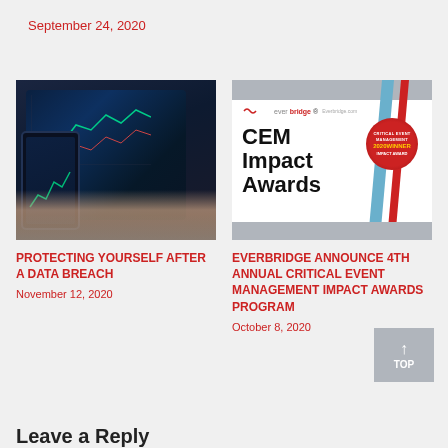September 24, 2020
[Figure (photo): Person holding a smartphone with trading charts in front of a laptop with trading screens]
PROTECTING YOURSELF AFTER A DATA BREACH
November 12, 2020
[Figure (photo): Everbridge CEM Impact Awards promotional image with red and blue diagonal design and 2020 Winner badge]
EVERBRIDGE ANNOUNCE 4TH ANNUAL CRITICAL EVENT MANAGEMENT IMPACT AWARDS PROGRAM
October 8, 2020
Leave a Reply